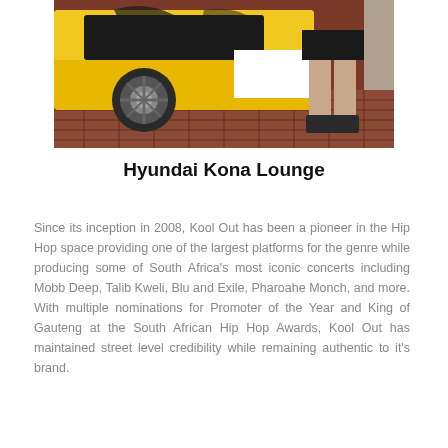[Figure (photo): A yellow and white Hyundai Kona car with artistic design wrap, and a person's legs visible standing next to it on a brick-paved surface.]
Hyundai Kona Lounge
Since its inception in 2008, Kool Out has been a pioneer in the Hip Hop space providing one of the largest platforms for the genre while producing some of South Africa's most iconic concerts including Mobb Deep, Talib Kweli, Blu and Exile, Pharoahe Monch, and more. With multiple nominations for Promoter of the Year and King of Gauteng at the South African Hip Hop Awards, Kool Out has maintained street level credibility while remaining authentic to it's brand.